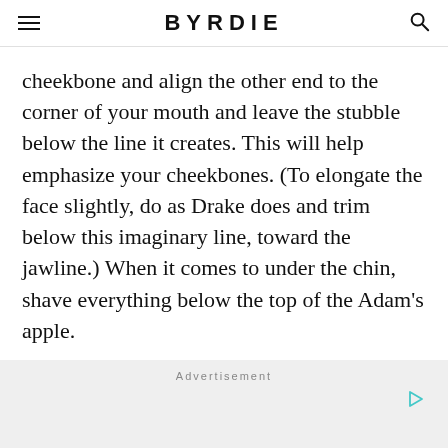BYRDIE
cheekbone and align the other end to the corner of your mouth and leave the stubble below the line it creates. This will help emphasize your cheekbones. (To elongate the face slightly, do as Drake does and trim below this imaginary line, toward the jawline.) When it comes to under the chin, shave everything below the top of the Adam’s apple.
Advertisement